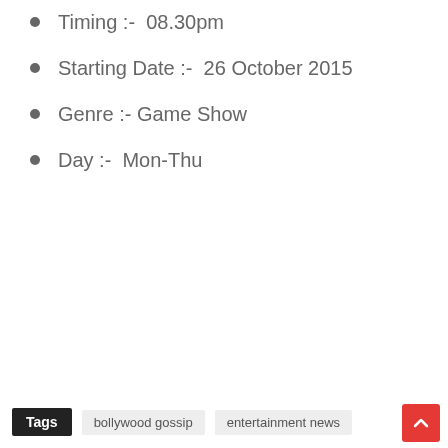Timing :-  08.30pm
Starting Date :-  26 October 2015
Genre :- Game Show
Day :-  Mon-Thu
Tags  bollywood gossip  entertainment news